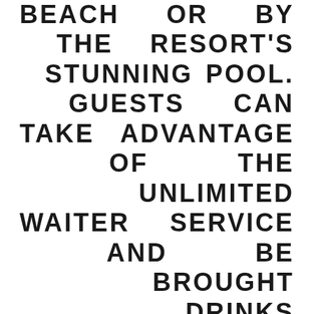BEACH OR BY THE RESORT'S STUNNING POOL. GUESTS CAN TAKE ADVANTAGE OF THE UNLIMITED WAITER SERVICE AND BE BROUGHT DRINKS POOLSIDE THROUGHOUT THE DAY. IF GUESTS DO FEEL THEY WOULD LIKE TO VENTURE OUT OF THE RESORT, CORFU IS HOME TO MANY BEAUTIFUL BEACHES AND COVES ALL SURROUNDED BY STUNNING MOUNTAIN SCENERY WHICH CAN BE EXPLORED BY BIKE